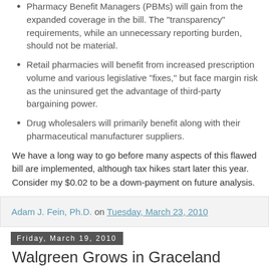Pharmacy Benefit Managers (PBMs) will gain from the expanded coverage in the bill. The “transparency” requirements, while an unnecessary reporting burden, should not be material.
Retail pharmacies will benefit from increased prescription volume and various legislative “fixes,” but face margin risk as the uninsured get the advantage of third-party bargaining power.
Drug wholesalers will primarily benefit along with their pharmaceutical manufacturer suppliers.
We have a long way to go before many aspects of this flawed bill are implemented, although tax hikes start later this year. Consider my $0.02 to be a down-payment on future analysis.
Adam J. Fein, Ph.D. on Tuesday, March 23, 2010
Friday, March 19, 2010
Walgreen Grows in Graceland